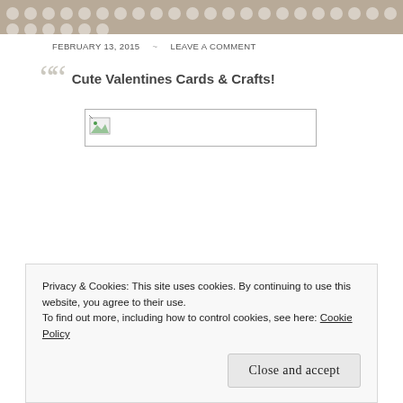[Figure (illustration): Top decorative banner with tan/beige background and rows of white polka dots, partially cropped at top]
FEBRUARY 13, 2015  ~  LEAVE A COMMENT
Cute Valentines Cards & Crafts!
[Figure (photo): Broken/missing image placeholder showing a small image icon with a border box]
Privacy & Cookies: This site uses cookies. By continuing to use this website, you agree to their use.
To find out more, including how to control cookies, see here: Cookie Policy
Close and accept